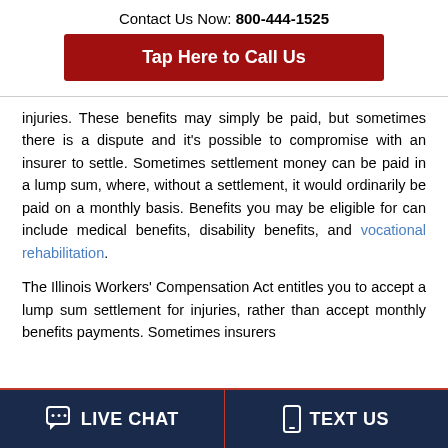Contact Us Now: 800-444-1525
Tap Here to Call Us
injuries. These benefits may simply be paid, but sometimes there is a dispute and it's possible to compromise with an insurer to settle. Sometimes settlement money can be paid in a lump sum, where, without a settlement, it would ordinarily be paid on a monthly basis. Benefits you may be eligible for can include medical benefits, disability benefits, and vocational rehabilitation.
The Illinois Workers' Compensation Act entitles you to accept a lump sum settlement for injuries, rather than accept monthly benefits payments. Sometimes insurers
LIVE CHAT
TEXT US